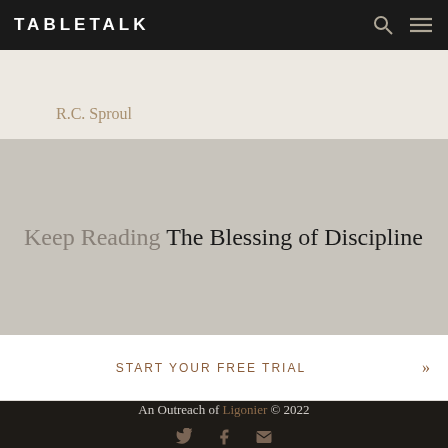TABLETALK
R.C. Sproul
Keep Reading The Blessing of Discipline
Start Your Free Trial
An Outreach of Ligonier © 2022